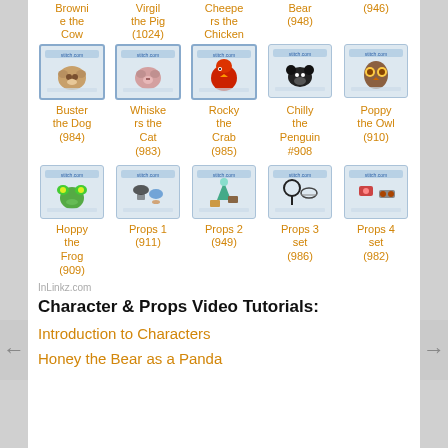[Figure (illustration): Grid of product thumbnail images for craft/stamp characters: Row 1 top labels - Brownie the Cow (highlighted), Virgil the Pig (1024) (highlighted), Cheepe rs the Chicken (highlighted), Bear (948), (946). Row 2 bottom labels - Buster the Dog (984), Whiskers the Cat (983), Rocky the Crab (985), Chilly the Penguin #908, Poppy the Owl (910)]
[Figure (illustration): Grid of product thumbnail images: Hoppy the Frog (909), Props 1 (911), Props 2 (949), Props 3 set (986), Props 4 set (982)]
InLinkz.com
Character & Props Video Tutorials:
Introduction to Characters
Honey the Bear as a Panda